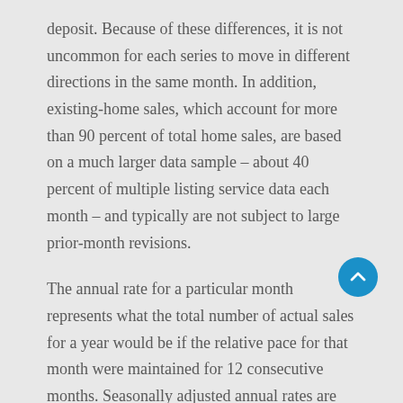deposit. Because of these differences, it is not uncommon for each series to move in different directions in the same month. In addition, existing-home sales, which account for more than 90 percent of total home sales, are based on a much larger data sample – about 40 percent of multiple listing service data each month – and typically are not subject to large prior-month revisions.
The annual rate for a particular month represents what the total number of actual sales for a year would be if the relative pace for that month were maintained for 12 consecutive months. Seasonally adjusted annual rates are used in reporting monthly data to factor out seasonal variations in resale activity. For example, home sales volume is normally higher in the summer than in the winter, primarily because of differences in the weather and family buying patterns. However, seasonal factors